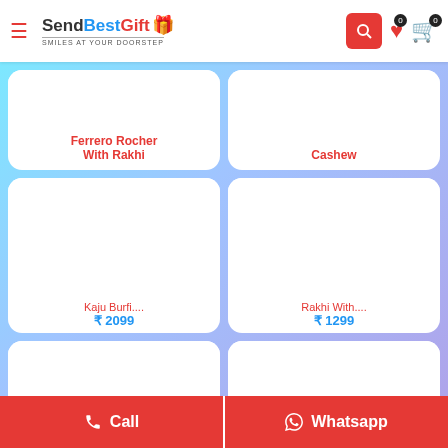SendBestGift — Smiles at your doorstep
Ferrero Rocher With Rakhi
Cashew
Kaju Burfi....
₹ 2099
Rakhi With....
₹ 1299
[Figure (photo): Product image placeholder - white card area (Rakhi With)]
[Figure (photo): Product image placeholder - white card area (Bhai Bhabh)]
Rakhi With....
Bhai Bhabh....
₹ 1499